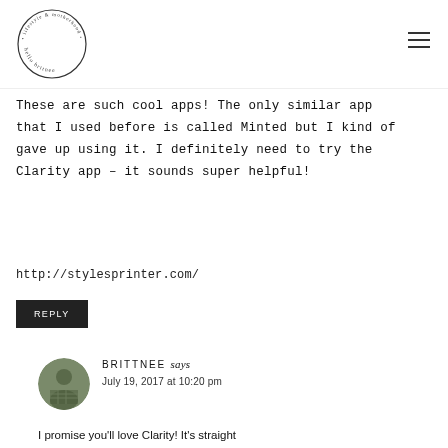[Figure (logo): Circular logo with text 'hello britnee • lifestyle & motherhood •' in a circle]
These are such cool apps! The only similar app that I used before is called Minted but I kind of gave up using it. I definitely need to try the Clarity app – it sounds super helpful!
http://stylesprinter.com/
REPLY
BRITTNEE says
July 19, 2017 at 10:20 pm
I promise you'll love Clarity! It's straight